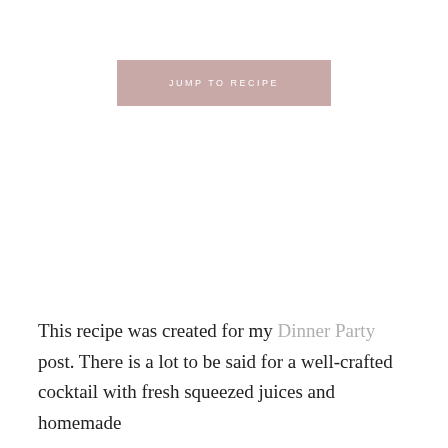[Figure (other): Pink/mauve rectangular button with white uppercase text reading JUMP TO RECIPE]
This recipe was created for my Dinner Party post. There is a lot to be said for a well-crafted cocktail with fresh squeezed juices and homemade